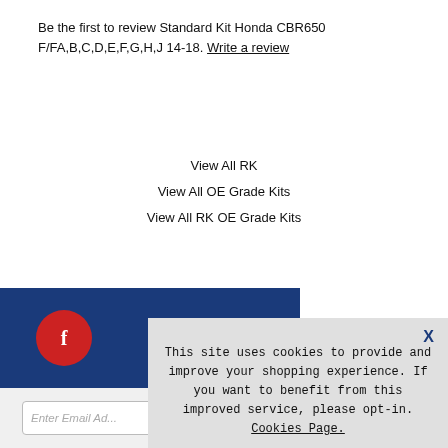Be the first to review Standard Kit Honda CBR650 F/FA,B,C,D,E,F,G,H,J 14-18. Write a review
View All RK
View All OE Grade Kits
View All RK OE Grade Kits
SHARE
[Figure (other): Facebook and Twitter social share icons (red circles)]
[Figure (other): Blue footer bar with Facebook icon circle]
This site uses cookies to provide and improve your shopping experience. If you want to benefit from this improved service, please opt-in. Cookies Page.
I opt-in to a better browsing experience
ACCEPT COOKIES